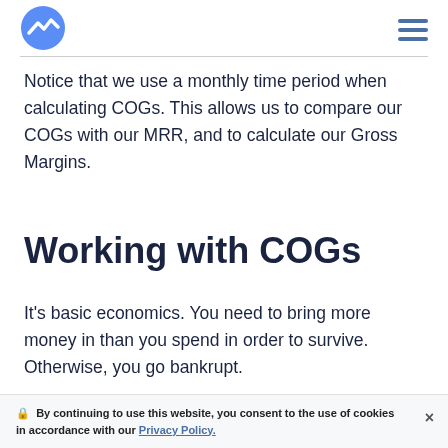[Logo] [Hamburger menu]
Notice that we use a monthly time period when calculating COGs. This allows us to compare our COGs with our MRR, and to calculate our Gross Margins.
Working with COGs
It's basic economics. You need to bring more money in than you spend in order to survive. Otherwise, you go bankrupt.
🔒 By continuing to use this website, you consent to the use of cookies in accordance with our Privacy Policy.